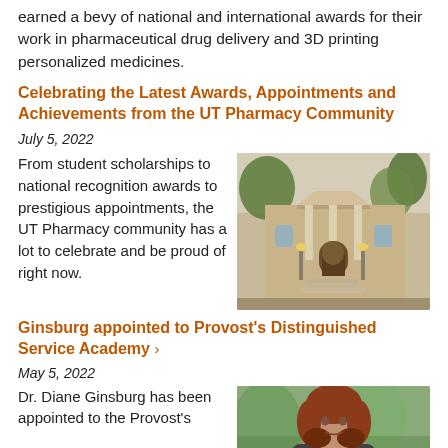earned a bevy of national and international awards for their work in pharmaceutical drug delivery and 3D printing personalized medicines.
Celebrating the Latest Awards, Appointments and Achievements from the UT Pharmacy Community
July 5, 2022
From student scholarships to national recognition awards to prestigious appointments, the UT Pharmacy community has a lot to celebrate and be proud of right now.
[Figure (photo): Exterior of a university building with stone facade, arched entrance, and trees]
Ginsburg appointed to Provost's Distinguished Service Academy ›
May 5, 2022
Dr. Diane Ginsburg has been appointed to the Provost's
[Figure (photo): Portrait photo of a woman with long auburn hair]